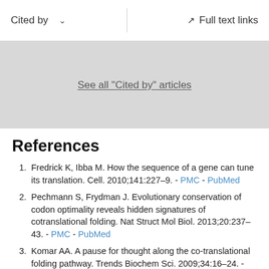Cited by   Full text links
See all "Cited by" articles
References
Fredrick K, Ibba M. How the sequence of a gene can tune its translation. Cell. 2010;141:227–9. - PMC - PubMed
Pechmann S, Frydman J. Evolutionary conservation of codon optimality reveals hidden signatures of cotranslational folding. Nat Struct Mol Biol. 2013;20:237–43. - PMC - PubMed
Komar AA. A pause for thought along the co-translational folding pathway. Trends Biochem Sci. 2009;34:16–24. - PubMed